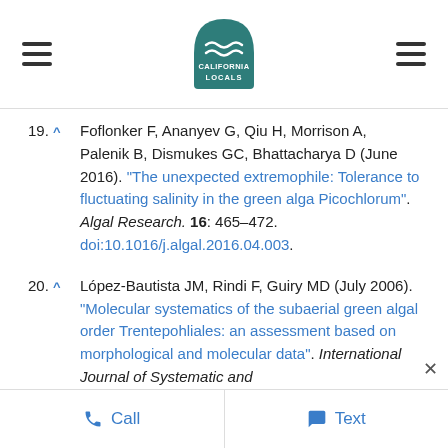California Locals navigation header with logo
19. ^ Foflonker F, Ananyev G, Qiu H, Morrison A, Palenik B, Dismukes GC, Bhattacharya D (June 2016). "The unexpected extremophile: Tolerance to fluctuating salinity in the green alga Picochlorum". Algal Research. 16: 465–472. doi:10.1016/j.algal.2016.04.003.
20. ^ López-Bautista JM, Rindi F, Guiry MD (July 2006). "Molecular systematics of the subaerial green algal order Trentepohliales: an assessment based on morphological and molecular data". International Journal of Systematic and Evolutionary Microbiology. 56(Pt 7):1709–15.
Call | Text